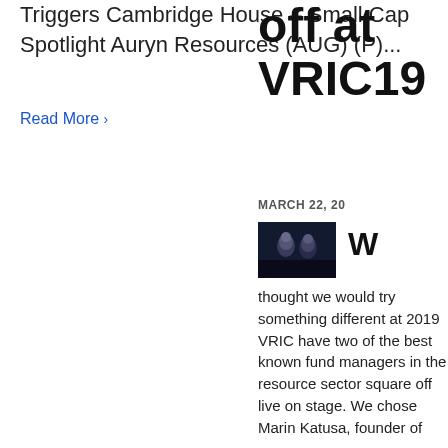Triggers Cambridge House – Small Cap Spotlight Auryn Resources (AUG) (P)...
Read More >
off at VRIC19
MARCH 22, 20
[Figure (photo): Two people on a dark stage at VRIC19 event]
W
thought we would try something different at 2019 VRIC have two of the best known fund managers in the resource sector square off live on stage. We chose Marin Katusa, founder of